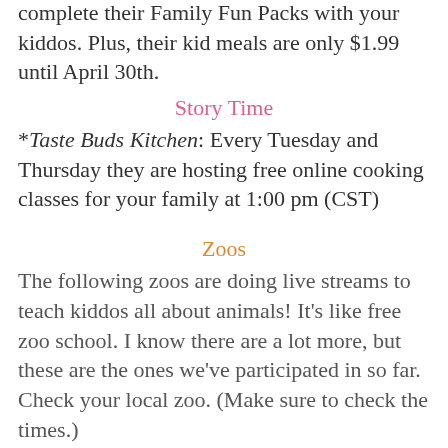complete their Family Fun Packs with your kiddos. Plus, their kid meals are only $1.99 until April 30th.
Story Time
*Taste Buds Kitchen: Every Tuesday and Thursday they are hosting free online cooking classes for your family at 1:00 pm (CST)
Zoos
The following zoos are doing live streams to teach kiddos all about animals! It's like free zoo school. I know there are a lot more, but these are the ones we've participated in so far. Check your local zoo. (Make sure to check the times.)
Elmwood Park Zoo (Weekdays at 11